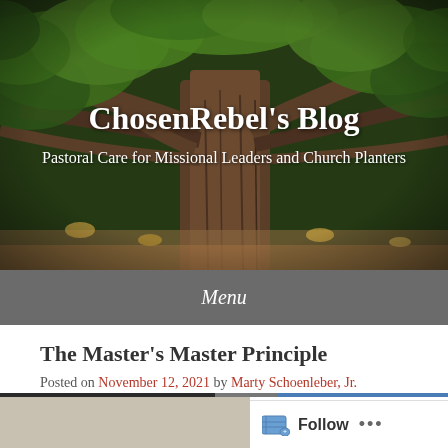[Figure (photo): Large ancient oak tree with wide spreading branches and dense green foliage, photographed from below looking up, with earthy tones at the base. Serves as the blog header background image.]
ChosenRebel's Blog
Pastoral Care for Missional Leaders and Church Planters
Menu
The Master's Master Principle
Posted on November 12, 2021 by Marty Schoenleber, Jr.